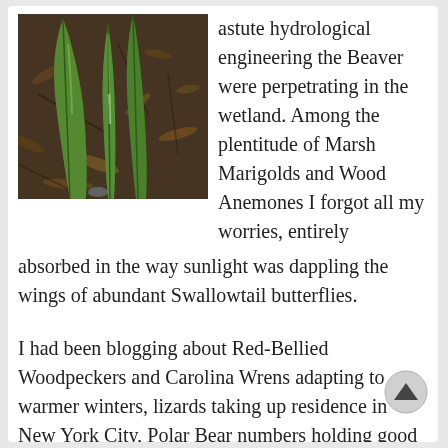[Figure (photo): Close-up photo of green plant shoots (likely wild garlic or similar) emerging from leaf litter on the ground in a woodland setting.]
astute hydrological engineering the Beaver were perpetrating in the wetland.  Among the plentitude of Marsh Marigolds and Wood Anemones I forgot all my worries, entirely absorbed in the way sunlight was dappling the wings of abundant Swallowtail butterflies.
I had been blogging about Red-Bellied Woodpeckers and Carolina Wrens adapting to warmer winters, lizards taking up residence in New York City, Polar Bear numbers holding good in the Arctic and resilient Tardigrades capable of outliving everything, hoping against hope that